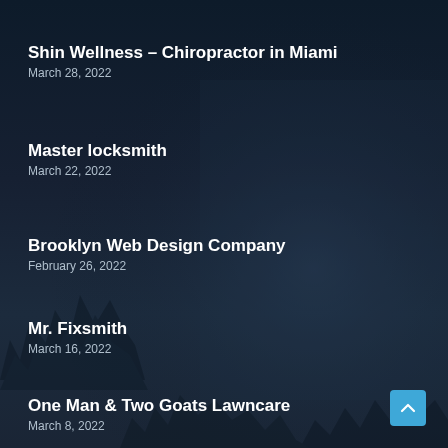Shin Wellness – Chiropractor in Miami
March 28, 2022
Master locksmith
March 22, 2022
Brooklyn Web Design Company
February 26, 2022
Mr. Fixsmith
March 16, 2022
One Man & Two Goats Lawncare
March 8, 2022